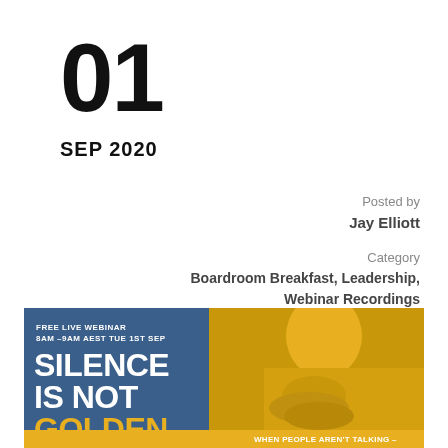01
SEP 2020
Posted by
Jay Elliott
Category
Boardroom Breakfast, Leadership, Webinar Recordings
[Figure (infographic): Webinar promotional banner: FREE LIVE WEBINAR 8AM-9AM AEST TUE 1ST SEP. Title: SILENCE IS NOT GOLDEN. Right side shows a person with hand on chin, golden toned image. Bottom text: WHEN PEOPLE AREN'T TALKING –]